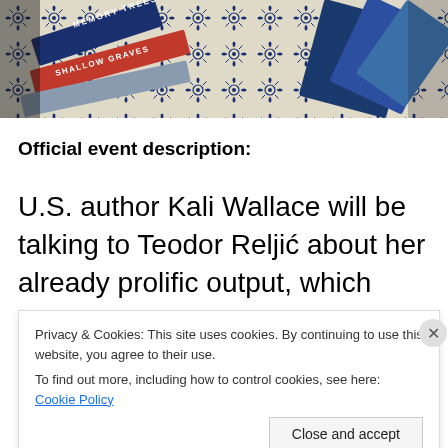[Figure (photo): Photo of stacked books on a blue floral patterned background. Book spines visible include 'Memory Trees' and 'Shallow Graves'.]
Official event description:
U.S. author Kali Wallace will be talking to Teodor Reljić about her already prolific output, which
Privacy & Cookies: This site uses cookies. By continuing to use this website, you agree to their use.
To find out more, including how to control cookies, see here: Cookie Policy
[Figure (photo): Bottom partial image showing orange and black book covers.]